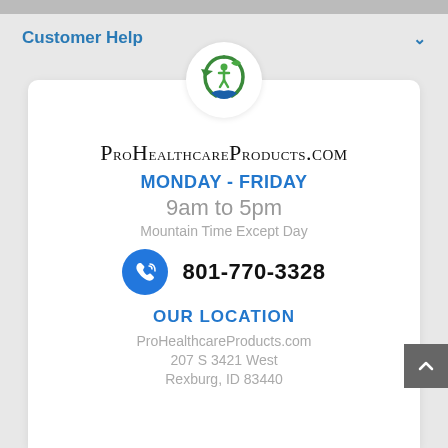Customer Help
[Figure (logo): ProHealthcareProducts.com circular logo with green leaf/person figure and blue hands]
ProHealthcareProducts.com
MONDAY - FRIDAY
9am to 5pm
Mountain Time Except Day
801-770-3328
OUR LOCATION
ProHealthcareProducts.com
207 S 3421 West
Rexburg, ID 83440